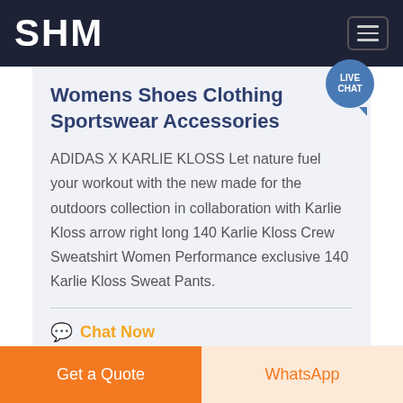SHM
Womens Shoes Clothing Sportswear Accessories
ADIDAS X KARLIE KLOSS Let nature fuel your workout with the new made for the outdoors collection in collaboration with Karlie Kloss arrow right long 140 Karlie Kloss Crew Sweatshirt Women Performance exclusive 140 Karlie Kloss Sweat Pants.
Chat Now
Get a Quote
WhatsApp